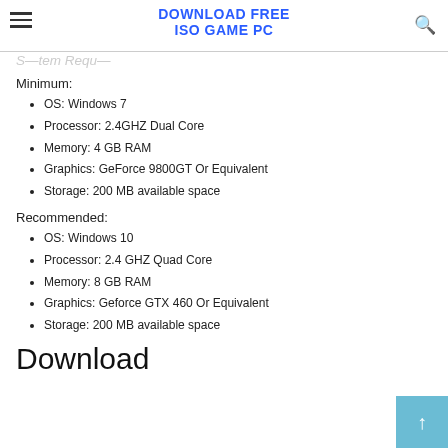DOWNLOAD FREE ISO GAME PC
System Requirements
Minimum:
OS: Windows 7
Processor: 2.4GHZ Dual Core
Memory: 4 GB RAM
Graphics: GeForce 9800GT Or Equivalent
Storage: 200 MB available space
Recommended:
OS: Windows 10
Processor: 2.4 GHZ Quad Core
Memory: 8 GB RAM
Graphics: Geforce GTX 460 Or Equivalent
Storage: 200 MB available space
Download